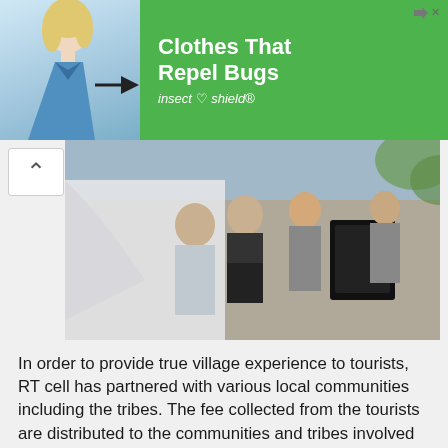[Figure (photo): Advertisement banner: woman in blue shirt on left, green background with text 'Clothes That Repel Bugs' and 'insect shield' logo on right]
[Figure (photo): Group of tourists standing together, one person holding a black book/folder]
In order to provide true village experience to tourists, RT cell has partnered with various local communities including the tribes. The fee collected from the tourists are distributed to the communities and tribes involved in the programs.
[Figure (photo): Young boy smiling among lush green plants with red berries/coffee cherries]